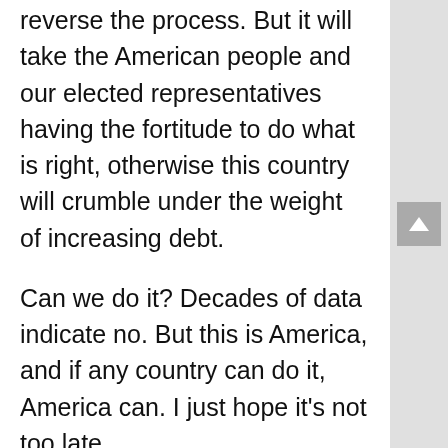2012, we can be in a position to actually reverse the process. But it will take the American people and our elected representatives having the fortitude to do what is right, otherwise this country will crumble under the weight of increasing debt.
Can we do it? Decades of data indicate no. But this is America, and if any country can do it, America can. I just hope it’s not too late.
————-
How would you describe the size of the